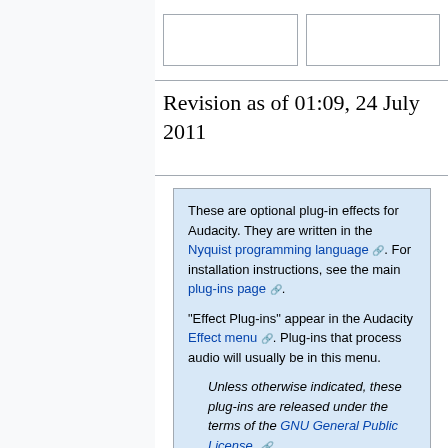Revision as of 01:09, 24 July 2011
These are optional plug-in effects for Audacity. They are written in the Nyquist programming language. For installation instructions, see the main plug-ins page.

"Effect Plug-ins" appear in the Audacity Effect menu. Plug-ins that process audio will usually be in this menu.

Unless otherwise indicated, these plug-ins are released under the terms of the GNU General Public License.